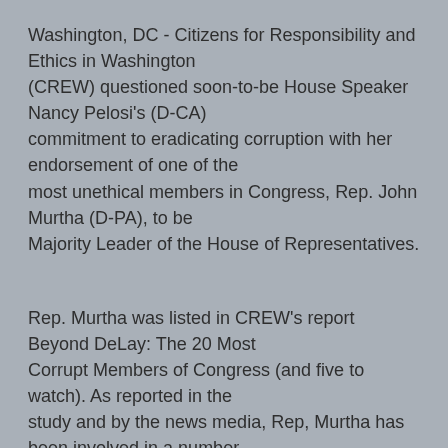Washington, DC - Citizens for Responsibility and Ethics in Washington (CREW) questioned soon-to-be House Speaker Nancy Pelosi's (D-CA) commitment to eradicating corruption with her endorsement of one of the most unethical members in Congress, Rep. John Murtha (D-PA), to be Majority Leader of the House of Representatives.
Rep. Murtha was listed in CREW's report Beyond DeLay: The 20 Most Corrupt Members of Congress (and five to watch). As reported in the study and by the news media, Rep, Murtha has been involved in a number of pay-to play schemes involving former staffers and his brother, Robert "Kit" Murtha.